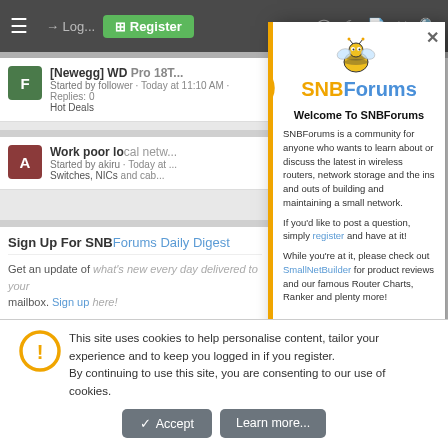[Figure (screenshot): SNBForums website screenshot showing forum listing in background with a Welcome modal overlay and cookie consent bar at bottom. The modal has an orange left border, SNBForums logo at top, welcome text, and description of the community. A cookie consent bar appears at the bottom with Accept and Learn more buttons.]